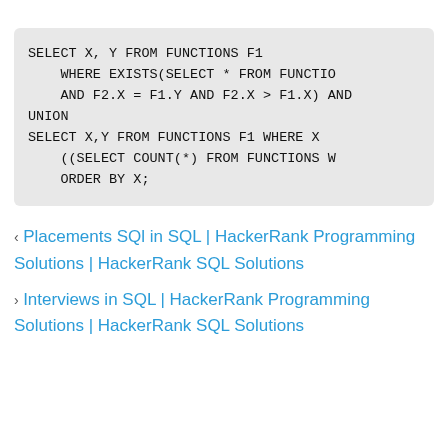SELECT X, Y FROM FUNCTIONS F1
    WHERE EXISTS(SELECT * FROM FUNCTIO
    AND F2.X = F1.Y AND F2.X > F1.X) AND
UNION
SELECT X,Y FROM FUNCTIONS F1 WHERE X
    ((SELECT COUNT(*) FROM FUNCTIONS W
    ORDER BY X;
< Placements SQl in SQL | HackerRank Programming Solutions | HackerRank SQL Solutions
> Interviews in SQL | HackerRank Programming Solutions | HackerRank SQL Solutions